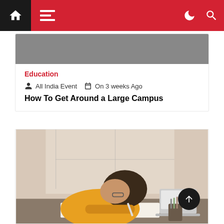Navigation bar with home, menu, moon/dark-mode, and search icons
Education
All India Event  On 3 weeks Ago
How To Get Around a Large Campus
[Figure (photo): A student in a yellow shirt writing or studying at a desk with a laptop and pencil holder nearby, bright window in background]